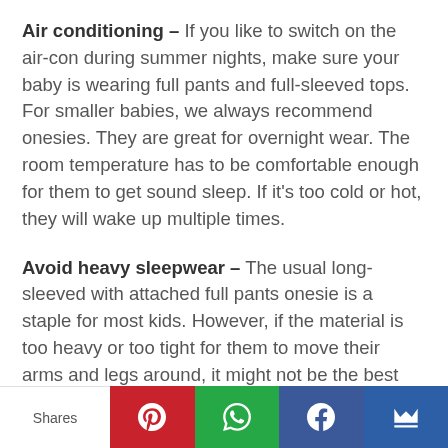Air conditioning – If you like to switch on the air-con during summer nights, make sure your baby is wearing full pants and full-sleeved tops. For smaller babies, we always recommend onesies. They are great for overnight wear. The room temperature has to be comfortable enough for them to get sound sleep. If it's too cold or hot, they will wake up multiple times.
Avoid heavy sleepwear – The usual long-sleeved with attached full pants onesie is a staple for most kids. However, if the material is too heavy or too tight for them to move their arms and legs around, it might not be the best option.
[Figure (other): Social sharing bar with Shares label, Pinterest (red), WhatsApp (green), Facebook (blue), and email/crown (dark blue) buttons]